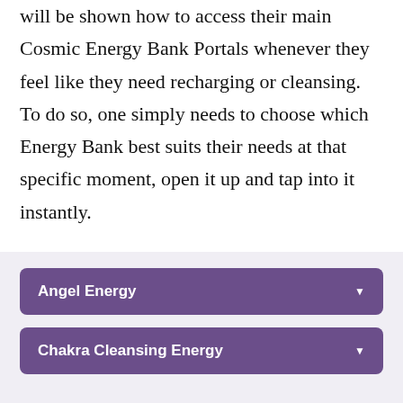will be shown how to access their main Cosmic Energy Bank Portals whenever they feel like they need recharging or cleansing. To do so, one simply needs to choose which Energy Bank best suits their needs at that specific moment, open it up and tap into it instantly.
Angel Energy
Chakra Cleansing Energy